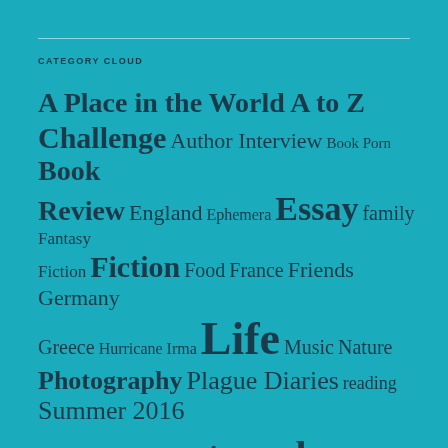CATEGORY CLOUD
[Figure (infographic): A word/tag cloud on a teal background showing blog categories in varying font sizes indicating frequency: A Place in the World A to Z (large), Challenge (large), Author Interview (medium), Book Porn (small), Book Review (medium-large), England (medium), Ephemera (small), Essay (very large), family (medium), Fantasy (small), Fiction (small), Fiction (very large bold), Food (medium), France (medium), Friends (medium), Germany (medium), Greece (medium), Hurricane Irma (small), Life (very large), Music (medium), Nature (medium), Photography (large), Plague Diaries (large), reading (medium), Summer 2016 (large), Things Found in Library Books (small), travel (very large)]